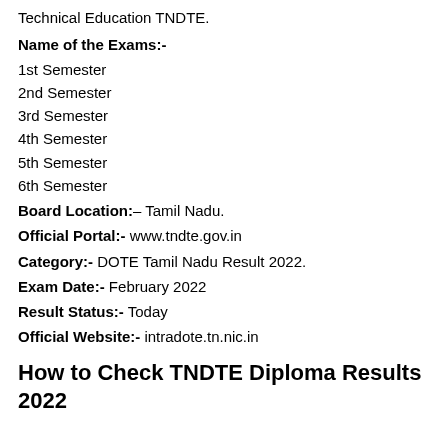Technical Education TNDTE.
Name of the Exams:-
1st Semester
2nd Semester
3rd Semester
4th Semester
5th Semester
6th Semester
Board Location:– Tamil Nadu.
Official Portal:- www.tndte.gov.in
Category:- DOTE Tamil Nadu Result 2022.
Exam Date:- February 2022
Result Status:- Today
Official Website:- intradote.tn.nic.in
How to Check TNDTE Diploma Results 2022